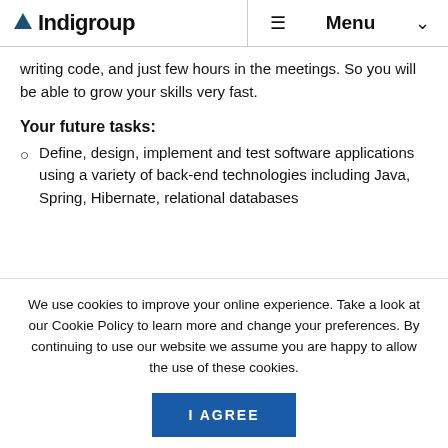Indigroup  ☰ Menu  ∨
writing code, and just few hours in the meetings. So you will be able to grow your skills very fast.
Your future tasks:
Define, design, implement and test software applications using a variety of back-end technologies including Java, Spring, Hibernate, relational databases
We use cookies to improve your online experience. Take a look at our Cookie Policy to learn more and change your preferences. By continuing to use our website we assume you are happy to allow the use of these cookies.
I AGREE
Privacy Policy